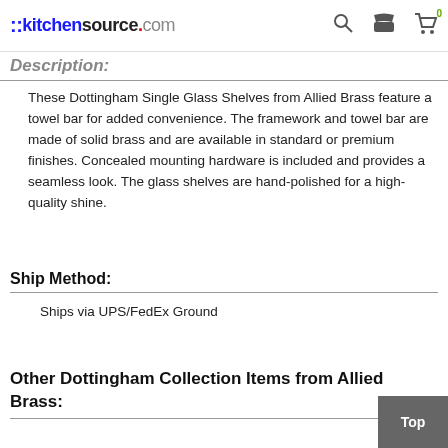::kitchensource.com
Description:
These Dottingham Single Glass Shelves from Allied Brass feature a towel bar for added convenience. The framework and towel bar are made of solid brass and are available in standard or premium finishes. Concealed mounting hardware is included and provides a seamless look. The glass shelves are hand-polished for a high-quality shine.
Ship Method:
Ships via UPS/FedEx Ground
Other Dottingham Collection Items from Allied Brass: